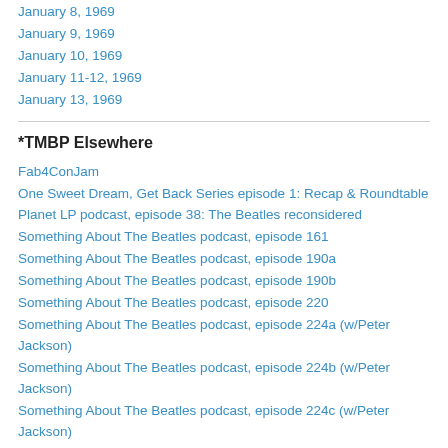January 8, 1969
January 9, 1969
January 10, 1969
January 11-12, 1969
January 13, 1969
*TMBP Elsewhere
Fab4ConJam
One Sweet Dream, Get Back Series episode 1: Recap & Roundtable
Planet LP podcast, episode 38: The Beatles reconsidered
Something About The Beatles podcast, episode 161
Something About The Beatles podcast, episode 190a
Something About The Beatles podcast, episode 190b
Something About The Beatles podcast, episode 220
Something About The Beatles podcast, episode 224a (w/Peter Jackson)
Something About The Beatles podcast, episode 224b (w/Peter Jackson)
Something About The Beatles podcast, episode 224c (w/Peter Jackson)
The Beatles and baseball (MLB.com)